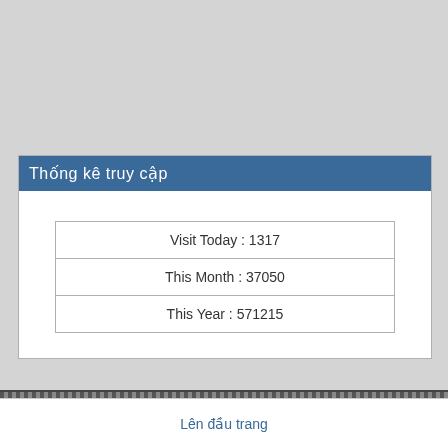Thống kê truy cập
| Visit Today : 1317 |
| This Month : 37050 |
| This Year : 571215 |
Lên đầu trang